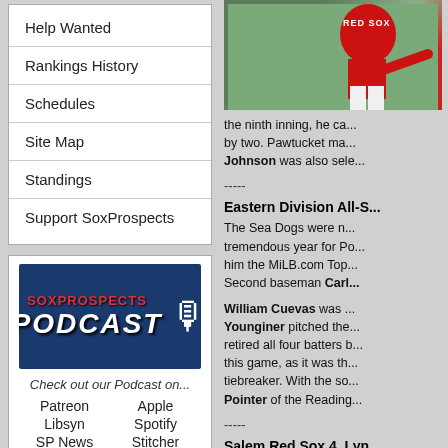Help Wanted
Rankings History
Schedules
Site Map
Standings
Support SoxProspects
[Figure (logo): SoxProspects Podcast logo banner on dark blue background with microphone icon]
Check out our Podcast on...
Patreon   Apple
Libsyn   Spotify
SP News   Stitcher
[Figure (photo): Baseball player in Red Sox uniform pitching]
the ninth inning, he ca... by two. Pawtucket ma... Johnson was also sele...
-----
Eastern Division All-S...
The Sea Dogs were n... tremendous year for Po... him the MiLB.com Top... Second baseman Carl...
William Cuevas was ... Younginer pitched the... retired all four batters b... this game, as it was th... tiebreaker. With the so... Pointer of the Reading...
-----
Salem Red Sox 4, Lyn...
Salem grabbed the fir...